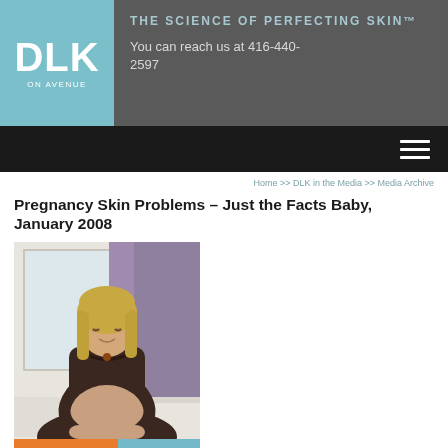[Figure (logo): DLK on Avenue logo — teal/blue background with white bold DLK text and ON AVENUE subtitle]
THE SCIENCE OF PERFECTING SKIN™
You can reach us at 416-440-2597
Home >> DLK in the Media >> Media Archive
Pregnancy Skin Problems – Just the Facts Baby, January 2008
[Figure (photo): Pregnant woman with blonde hair sitting cross-legged on a bed, wearing a dark brown long-sleeve wrap top, smiling down at her bare belly. Background shows white bedding and a purple curtain. Bottom of image has an orange bar reading 'Just the facts' and a teal/blue bar with script text 'Baby'.]